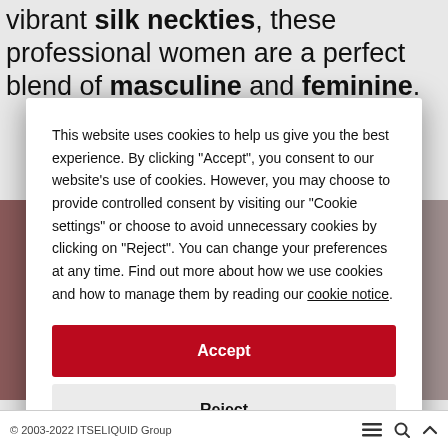vibrant silk neckties, these professional women are a perfect blend of masculine and feminine.
This website uses cookies to help us give you the best experience. By clicking "Accept", you consent to our website's use of cookies. However, you may choose to provide controlled consent by visiting our "Cookie settings" or choose to avoid unnecessary cookies by clicking on "Reject". You can change your preferences at any time. Find out more about how we use cookies and how to manage them by reading our cookie notice.
Accept
Reject
Cookie settings
© 2003-2022 ITSELIQUID Group